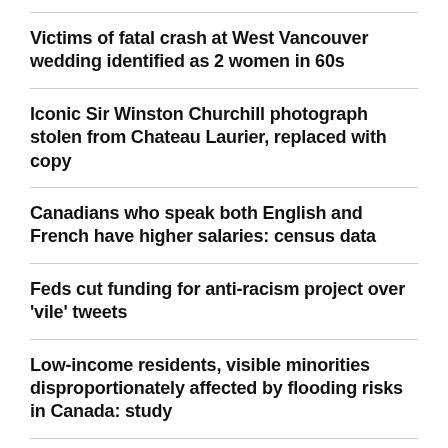Victims of fatal crash at West Vancouver wedding identified as 2 women in 60s
Iconic Sir Winston Churchill photograph stolen from Chateau Laurier, replaced with copy
Canadians who speak both English and French have higher salaries: census data
Feds cut funding for anti-racism project over 'vile' tweets
Low-income residents, visible minorities disproportionately affected by flooding risks in Canada: study
U.S. lawmakers, advocates pushing Ottawa to